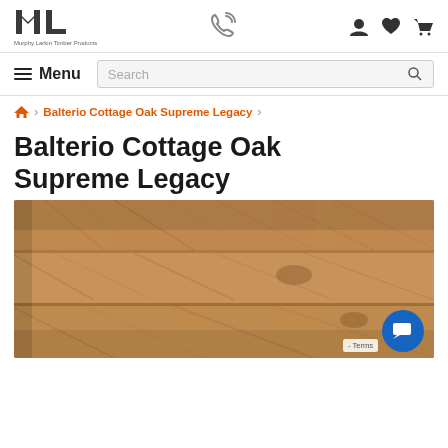[Figure (logo): Murphy Larkin Timber Products logo — ML letters with tagline below]
Menu | Search bar | Account, Wishlist, Cart icons
Balterio Cottage Oak Supreme Legacy (breadcrumb)
Balterio Cottage Oak Supreme Legacy
[Figure (photo): Close-up photo of Balterio Cottage Oak Supreme Legacy laminate flooring planks in warm honey-brown tones with natural wood grain texture]